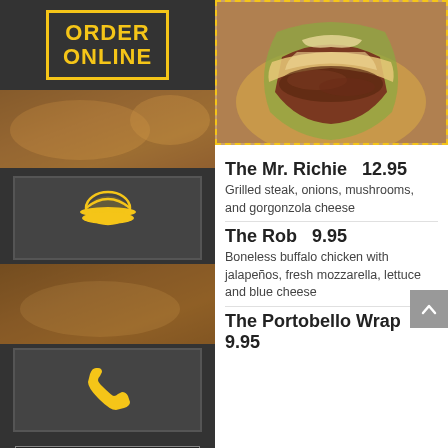[Figure (screenshot): Sidebar with ORDER ONLINE button, food serving icon, phone icon, and navigation buttons (Breakfast, Acai Bowls, Appetizers, Sandwiches, Salads)]
[Figure (photo): Close-up photo of a wrapped sandwich/wrap with grilled steak and sauce, shown from the side]
The Mr. Richie  12.95
Grilled steak, onions, mushrooms, and gorgonzola cheese
The Rob  9.95
Boneless buffalo chicken with jalapeños, fresh mozzarella, lettuce and blue cheese
The Portobello Wrap  9.95